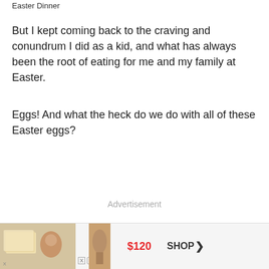Easter Dinner
But I kept coming back to the craving and conundrum I did as a kid, and what has always been the root of eating for me and my family at Easter.
Eggs! And what the heck do we do with all of these Easter eggs?
Advertisement
[Figure (photo): Advertisement banner showing food items including what appears to be pastries/bread on the left and a clothing or fabric item in the center, with a $120 price tag and SHOP button with arrow on the right.]